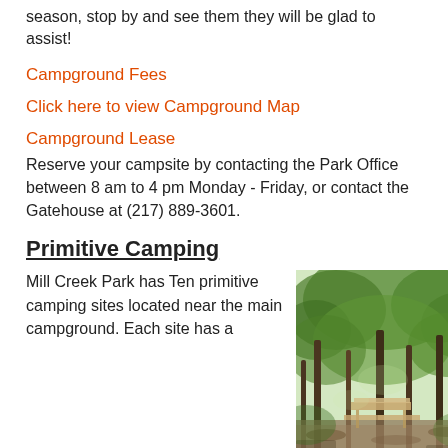season, stop by and see them they will be glad to assist!
Campground Fees
Click here to view Campground Map
Campground Lease
Reserve your campsite by contacting the Park Office between 8 am to 4 pm Monday - Friday, or contact the Gatehouse at (217) 889-3601.
Primitive Camping
Mill Creek Park has Ten primitive camping sites located near the main campground. Each site has a
[Figure (photo): A wooded forest campsite with trees, a picnic table visible in the background, and dappled light through green foliage.]